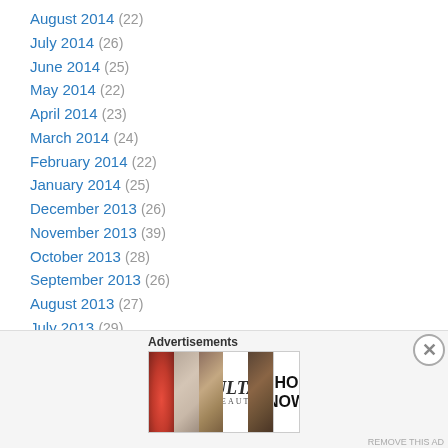August 2014 (22)
July 2014 (26)
June 2014 (25)
May 2014 (22)
April 2014 (23)
March 2014 (24)
February 2014 (22)
January 2014 (25)
December 2013 (26)
November 2013 (39)
October 2013 (28)
September 2013 (26)
August 2013 (27)
July 2013 (29)
June 2013 (29)
May 2013 (31)
[Figure (other): Ulta Beauty advertisement banner with makeup images (lips, brush, eyes) and SHOP NOW call to action]